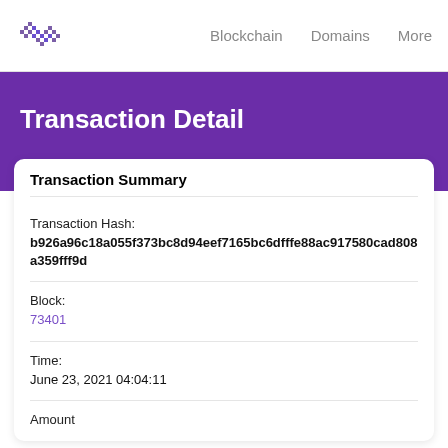Blockchain   Domains   More
Transaction Detail
Transaction Summary
Transaction Hash:
b926a96c18a055f373bc8d94eef7165bc6dfffe88ac917580cad808a359fff9d
Block:
73401
Time:
June 23, 2021 04:04:11
Amount